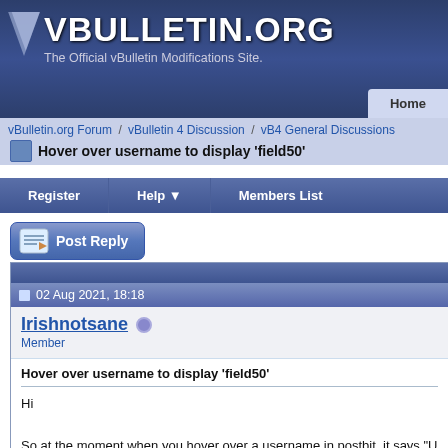VBULLETIN.ORG — The Official vBulletin Modifications Site.
vBulletin.org Forum / vBulletin 4 Discussion / vB4 General Discussions
Hover over username to display 'field50'
Register   Help   Members List
Post Reply
02 Aug 2021, 18:18
Irishnotsane
Member
Hover over username to display 'field50'
Hi

So at the moment when you hover over a username in postbit, it says "U

How do I change this so it displays what a user has in one of their profile

Thanks in advance.